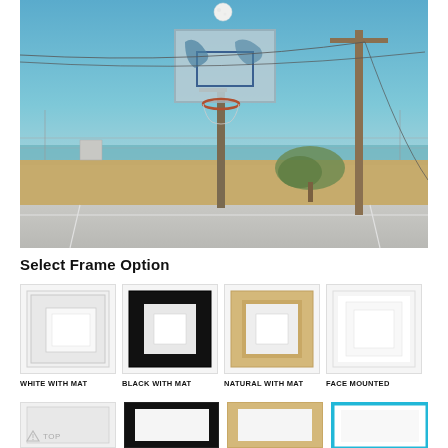[Figure (photo): Outdoor basketball court with a backboard and hoop, a utility pole with wires, dry grass and a small tree, chain-link fence, ocean visible in the background, blue sky with a full moon above the backboard.]
Select Frame Option
[Figure (illustration): Four frame option thumbnails shown side by side: White With Mat, Black With Mat, Natural With Mat, Face Mounted]
WHITE WITH MAT
BLACK WITH MAT
NATURAL WITH MAT
FACE MOUNTED